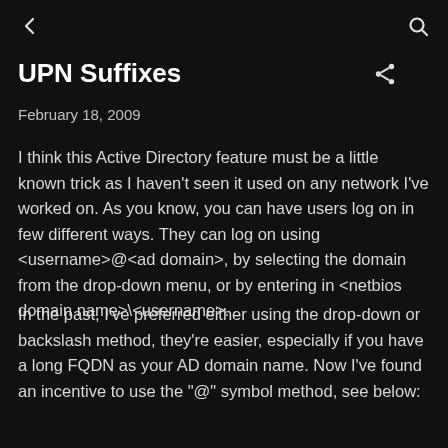← [back] [search]
UPN Suffixes
February 18, 2009
I think this Active Directory feature must be a little known trick as I haven't seen it used on any network I've worked on. As you know, you can have users log on in few different ways. They can log on using <username>@<ad domain>, by selecting the domain from the drop-down menu, or by entering in <netbios domain name>\<username>.
In the past, I've preferred either using the drop-down or backslash method, they're easier, especially if you have a long FQDN as your AD domain name. Now I've found an incentive to use the "@" symbol method, see below: